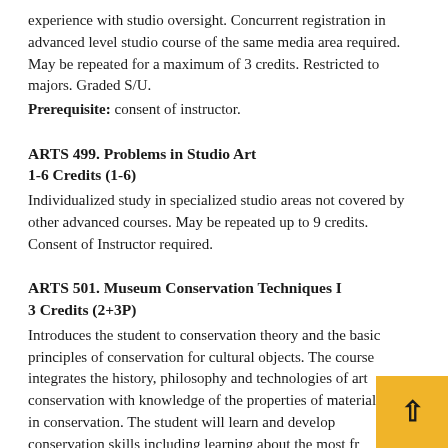experience with studio oversight. Concurrent registration in advanced level studio course of the same media area required. May be repeated for a maximum of 3 credits. Restricted to majors. Graded S/U.
Prerequisite: consent of instructor.
ARTS 499. Problems in Studio Art
1-6 Credits (1-6)
Individualized study in specialized studio areas not covered by other advanced courses. May be repeated up to 9 credits. Consent of Instructor required.
ARTS 501. Museum Conservation Techniques I
3 Credits (2+3P)
Introduces the student to conservation theory and the basic principles of conservation for cultural objects. The course integrates the history, philosophy and technologies of art conservation with knowledge of the properties of materials used in conservation. The student will learn and develop conservation skills including learning about the most fr